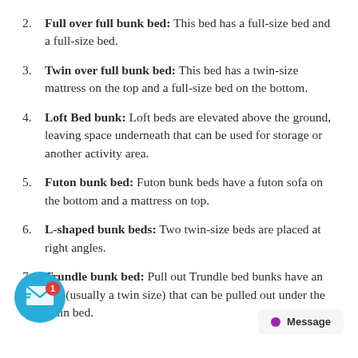2. Full over full bunk bed: This bed has a full-size bed and a full-size bed.
3. Twin over full bunk bed: This bed has a twin-size mattress on the top and a full-size bed on the bottom.
4. Loft Bed bunk: Loft beds are elevated above the ground, leaving space underneath that can be used for storage or another activity area.
5. Futon bunk bed: Futon bunk beds have a futon sofa on the bottom and a mattress on top.
6. L-shaped bunk beds: Two twin-size beds are placed at right angles.
7. Trundle bunk bed: Pull out Trundle bed bunks have an bed (usually a twin size) that can be pulled out under the main bed.